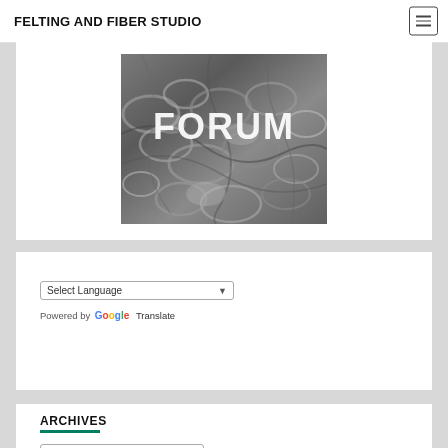FELTING AND FIBER STUDIO
[Figure (photo): A photo of gray curly wool/fiber with the word FORUM overlaid in large white text]
Select Language ▾
Powered by Google Translate
ARCHIVES
Select Month ▾